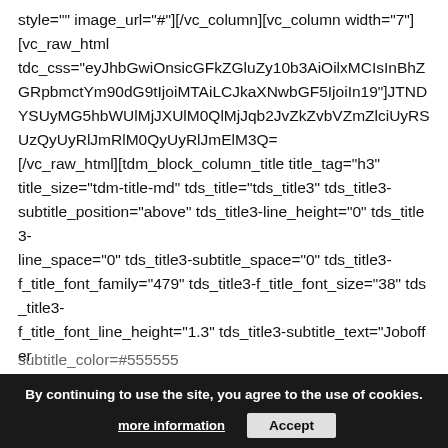style="" image_url="#"][/vc_column][vc_column width="7"] [vc_raw_html tdc_css="eyJhbGwiOnsicGFkZGluZy10b3AiOilxMCIsInBhZGRpbmctYm90dG9tIjoiMTAiLCJkaXNwbGF5IjoiIn19"][JTNDYSUyMG5hbWUlMjJXUlM0QlMjJqb2JvZkZvbVZmZlciUyRSUzQyUyRlJmRlM0QyUyRlJmElM0U= [/vc_raw_html][tdm_block_column_title title_tag="h3" title_size="tdm-title-md" tds_title="tds_title3" tds_title3-subtitle_position="above" tds_title3-line_height="0" tds_title3-line_space="0" tds_title3-subtitle_space="0" tds_title3-f_title_font_family="479" tds_title3-f_title_font_size="38" tds_title3-f_title_font_line_height="1.3" tds_title3-subtitle_text="Joboffer (escape game)" tds_title3-f_subtitle_font_family="479" tds_title3-f_subtitle_font_size="30" tds_title3-f_subtitle_font_transform="none" tds_title3-subtitle_color=#555555 itle_text="SnVuaW9yJTlwVHJlYX                    S0ZXI=" tds_title3-f_title_font_transform="none"][tdm_block_inline_text description="QXMlMjBhJTlwSnVuaW9yJTlwVHJlYXN1cmVIJTlwVHJlYXN1
[Figure (screenshot): Cookie consent bar overlay at the bottom of the page with dark background, text 'By continuing to use the site, you agree to the use of cookies.' and two buttons: 'more information' (underlined) and 'Accept' (grey button)]